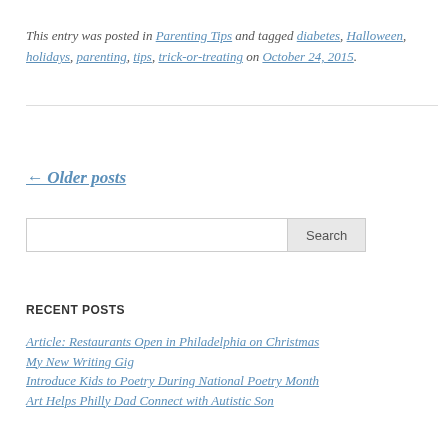This entry was posted in Parenting Tips and tagged diabetes, Halloween, holidays, parenting, tips, trick-or-treating on October 24, 2015.
← Older posts
Search
RECENT POSTS
Article: Restaurants Open in Philadelphia on Christmas
My New Writing Gig
Introduce Kids to Poetry During National Poetry Month
Art Helps Philly Dad Connect with Autistic Son